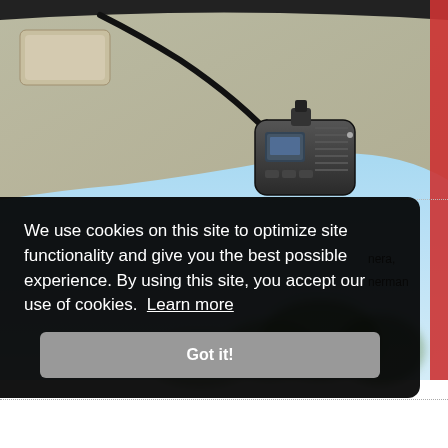[Figure (photo): Dashcam mounted on car windshield interior, black device with cable, blue sky visible through windshield, blurred background]
We use cookies on this site to optimize site functionality and give you the best possible experience. By using this site, you accept our use of cookies. Learn more
Got it!